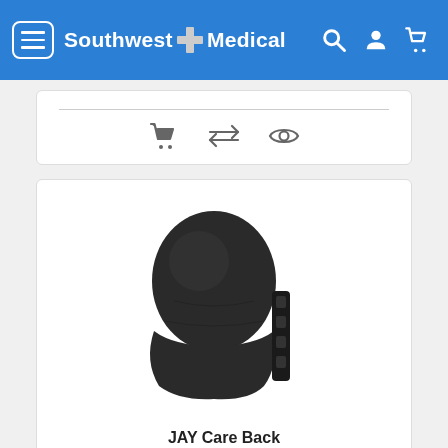Southwest Medical
[Figure (screenshot): Action icons row: shopping cart, compare arrows, and eye/view icon]
[Figure (photo): JAY Care Back wheelchair back support cushion, black fabric with mounting hardware, shown from front angle]
JAY Care Back